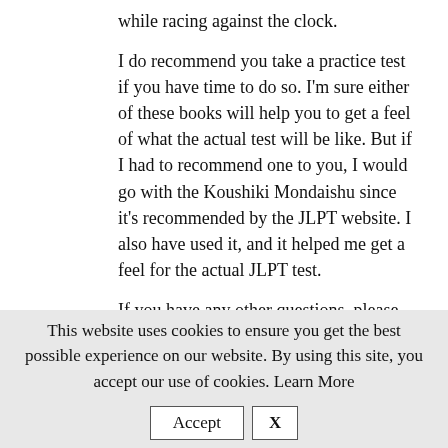while racing against the clock.
I do recommend you take a practice test if you have time to do so. I'm sure either of these books will help you to get a feel of what the actual test will be like. But if I had to recommend one to you, I would go with the Koushiki Mondaishu since it's recommended by the JLPT website. I also have used it, and it helped me get a feel for the actual JLPT test.
If you have any other questions, please feel free to ask!
Good luck!
This website uses cookies to ensure you get the best possible experience on our website. By using this site, you accept our use of cookies. Learn More